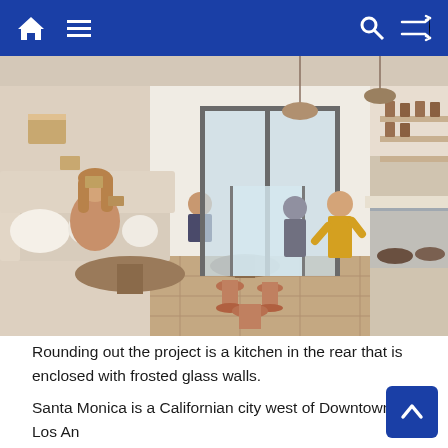Navigation bar with home, menu, search, and shuffle icons
[Figure (photo): Interior of a modern cafe/bakery with upholstered bench seating, round wooden tables, copper stools, hanging pendant lights, a display counter with baked goods, and shelving on the right wall. Several patrons are seated or standing.]
Rounding out the project is a kitchen in the rear that is enclosed with frosted glass walls.
Santa Monica is a Californian city west of Downtown Los An... Other new additions to Santa Monica are Santa Monica Prop... hotel and Santa Monica College.